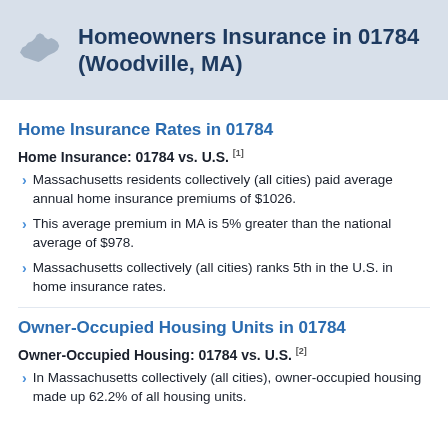Homeowners Insurance in 01784 (Woodville, MA)
Home Insurance Rates in 01784
Home Insurance: 01784 vs. U.S. [1]
Massachusetts residents collectively (all cities) paid average annual home insurance premiums of $1026.
This average premium in MA is 5% greater than the national average of $978.
Massachusetts collectively (all cities) ranks 5th in the U.S. in home insurance rates.
Owner-Occupied Housing Units in 01784
Owner-Occupied Housing: 01784 vs. U.S. [2]
In Massachusetts collectively (all cities), owner-occupied housing made up 62.2% of all housing units.